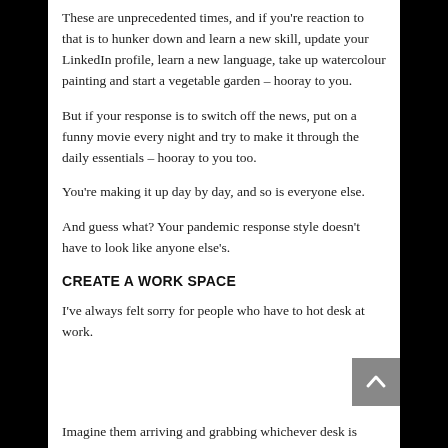These are unprecedented times, and if you're reaction to that is to hunker down and learn a new skill, update your LinkedIn profile, learn a new language, take up watercolour painting and start a vegetable garden – hooray to you.
But if your response is to switch off the news, put on a funny movie every night and try to make it through the daily essentials – hooray to you too.
You're making it up day by day, and so is everyone else.
And guess what? Your pandemic response style doesn't have to look like anyone else's.
CREATE A WORK SPACE
I've always felt sorry for people who have to hot desk at work.
Imagine them arriving and grabbing whichever desk is